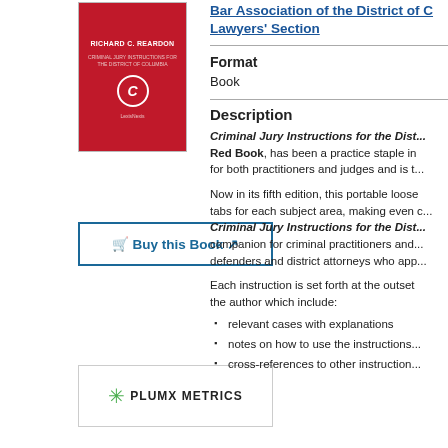[Figure (photo): Red book cover for Criminal Jury Instructions for the District of Columbia]
Buy this Book
[Figure (other): PLUMX METRICS widget with green asterisk logo]
SHARE
[Figure (other): Social share buttons: Facebook, Twitter, LinkedIn, Email, More]
Bar Association of the District of C... Lawyers' Section
Format
Book
Description
Criminal Jury Instructions for the Dist... Red Book, has been a practice staple in... for both practitioners and judges and is t...
Now in its fifth edition, this portable loose... tabs for each subject area, making even c... Criminal Jury Instructions for the Dist... companion for criminal practitioners and... defenders and district attorneys who app...
Each instruction is set forth at the outset... the author which include:
relevant cases with explanations
notes on how to use the instructions
cross-references to other instruction